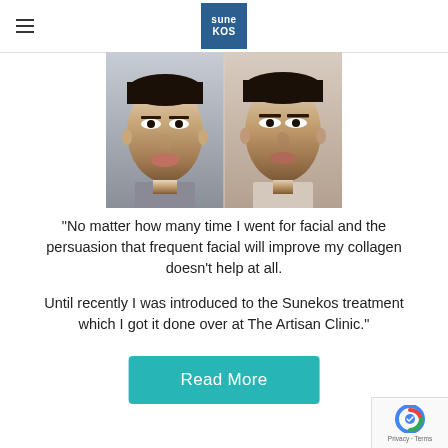suneKOS
[Figure (photo): Before and after side-by-side facial photos of an Asian woman, showing skin improvement after Sunekos treatment]
"No matter how many time I went for facial and the persuasion that frequent facial will improve my collagen doesn't help at all.

Until recently I was introduced to the Sunekos treatment which I got it done over at The Artisan Clinic."
Read More